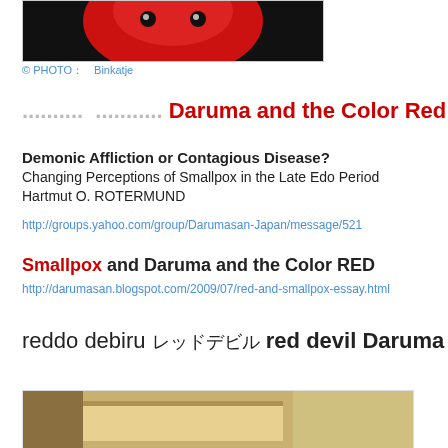[Figure (photo): Partial view of a red Daruma doll against black background, top portion visible]
© PHOTO：　Binkatje
Daruma and the Color Red
Demonic Affliction or Contagious Disease?
Changing Perceptions of Smallpox in the Late Edo Period
Hartmut O. ROTERMUND
http://groups.yahoo.com/group/Darumasan-Japan/message/521
Smallpox and Daruma and the Color RED
http://darumasan.blogspot.com/2009/07/red-and-smallpox-essay.html
reddo debiru レッドデビル red devil Daruma
[Figure (photo): Partial bottom image of what appears to be a room or object, partially visible]